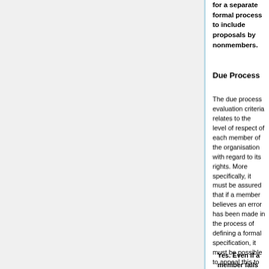for a separate formal process to include proposals by nonmembers.
Due Process
The due process evaluation criteria relates to the level of respect of each member of the organisation with regard to its rights. More specifically, it must be assured that if a member believes an error has been made in the process of defining a formal specification, it must be possible to appeal this to an independent, higher instance. The question is therefore: can a member formally appeal or raise objections to a procedure or to a technical specification to an independent, higher instance?
Yes. Even if a member fails an